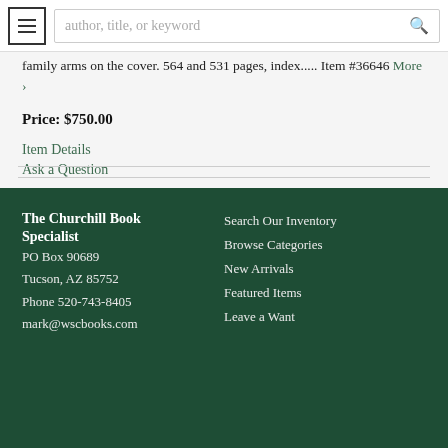author, title, or keyword
family arms on the cover. 564 and 531 pages, index..... Item #36646 More >
Price: $750.00
Item Details
Ask a Question
The Churchill Book Specialist
PO Box 90689
Tucson, AZ 85752
Phone 520-743-8405
mark@wscbooks.com

Search Our Inventory
Browse Categories
New Arrivals
Featured Items
Leave a Want